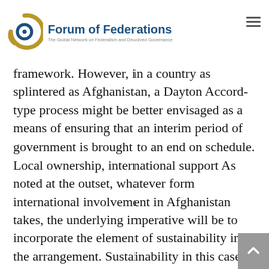Forum of Federations — The Global Network on Federalism and Devolved Governance
framework. However, in a country as splintered as Afghanistan, a Dayton Accord-type process might be better envisaged as a means of ensuring that an interim period of government is brought to an end on schedule. Local ownership, international support As noted at the outset, whatever form international involvement in Afghanistan takes, the underlying imperative will be to incorporate the element of sustainability into the arrangement. Sustainability in this case must imply local ownership, and not an indefinite foreign presence. More than merely a sunset clause, this means that the content of the international assistance program itself must be designed to develop Afghanistan's capacity to govern itself, and not merely to shore up an interim regime. But this can only emerge if the specific socio-political landscape is